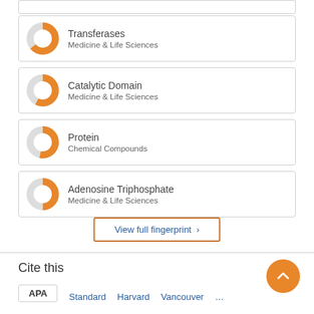Transferases — Medicine & Life Sciences
Catalytic Domain — Medicine & Life Sciences
Protein — Chemical Compounds
Adenosine Triphosphate — Medicine & Life Sciences
View full fingerprint >
Cite this
APA   Standard   Harvard   Vancouver   ...